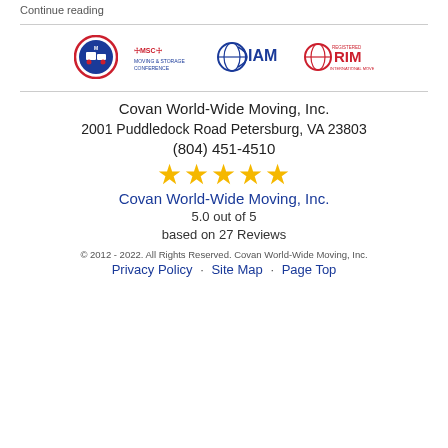Continue reading
[Figure (logo): Row of association logos: moving company logo (circular red/blue), MSC (Moving & Storage Conference), IAM (International Association of Movers), RIM (Registered International Mover)]
Covan World-Wide Moving, Inc.
2001 Puddledock Road Petersburg, VA 23803
(804) 451-4510
[Figure (other): Five gold star rating icons]
Covan World-Wide Moving, Inc.
5.0 out of 5
based on 27 Reviews
© 2012 - 2022. All Rights Reserved. Covan World-Wide Moving, Inc.
Privacy Policy · Site Map · Page Top